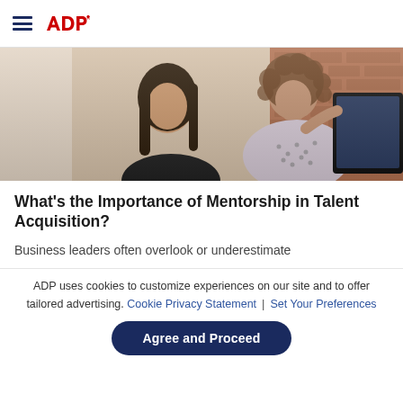ADP navigation header with hamburger menu and ADP logo
[Figure (photo): Two women looking at a computer screen together in an office setting with brick wall background. One has long dark hair and the other has curly hair and is leaning over.]
What's the Importance of Mentorship in Talent Acquisition?
Business leaders often overlook or underestimate
ADP uses cookies to customize experiences on our site and to offer tailored advertising. Cookie Privacy Statement | Set Your Preferences
Agree and Proceed